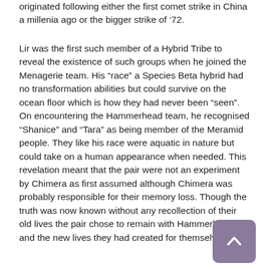originated following either the first comet strike in China a millenia ago or the bigger strike of '72.
Lir was the first such member of a Hybrid Tribe to reveal the existence of such groups when he joined the Menagerie team. His “race” a Species Beta hybrid had no transformation abilities but could survive on the ocean floor which is how they had never been “seen”. On encountering the Hammerhead team, he recognised “Shanice” and “Tara” as being member of the Meramid people. They like his race were aquatic in nature but could take on a human appearance when needed. This revelation meant that the pair were not an experiment by Chimera as first assumed although Chimera was probably responsible for their memory loss. Though the truth was now known without any recollection of their old lives the pair chose to remain with Hammerhead and the new lives they had created for themselves.
[Figure (other): Back-to-top button: a rounded square button with purple/mauve background and a white upward-pointing chevron/arrow icon]